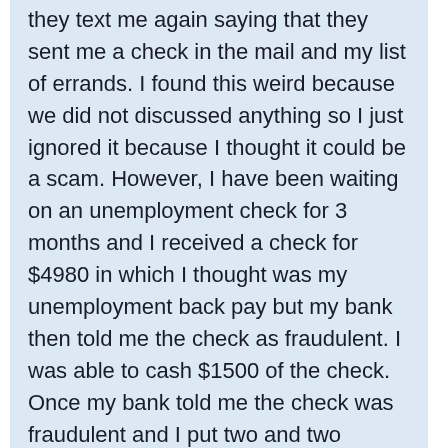they text me again saying that they sent me a check in the mail and my list of errands. I found this weird because we did not discussed anything so I just ignored it because I thought it could be a scam. However, I have been waiting on an unemployment check for 3 months and I received a check for $4980 in which I thought was my unemployment back pay but my bank then told me the check as fraudulent. I was able to cash $1500 of the check. Once my bank told me the check was fraudulent and I put two and two together I assume this check was the fraud job that I had applied for on ineeded.com. Now I owe the bank $1,500 from what I cashed from the check. I haven't gotten unemployment in 3 months and have a lot of debt and now I have even more debt because of this. I was